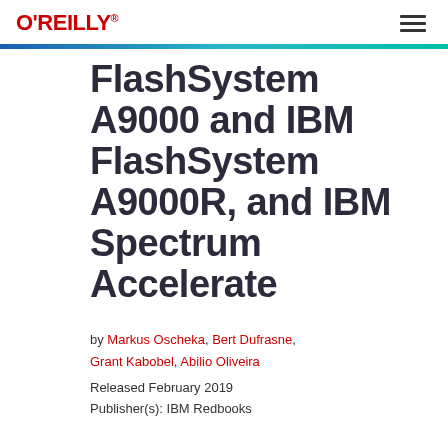O'REILLY®
FlashSystem A9000 and IBM FlashSystem A9000R, and IBM Spectrum Accelerate
by Markus Oscheka, Bert Dufrasne, Grant Kabobel, Abilio Oliveira
Released February 2019
Publisher(s): IBM Redbooks